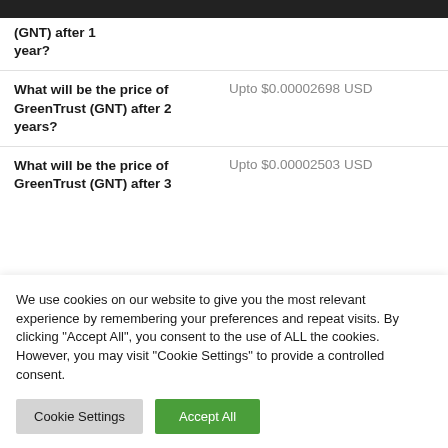| Question | Answer |
| --- | --- |
| What will be the price of GreenTrust (GNT) after 2 years? | Upto $0.00002698 USD |
| What will be the price of GreenTrust (GNT) after 3 years? | Upto $0.00002503 USD |
We use cookies on our website to give you the most relevant experience by remembering your preferences and repeat visits. By clicking "Accept All", you consent to the use of ALL the cookies. However, you may visit "Cookie Settings" to provide a controlled consent.
Cookie Settings | Accept All